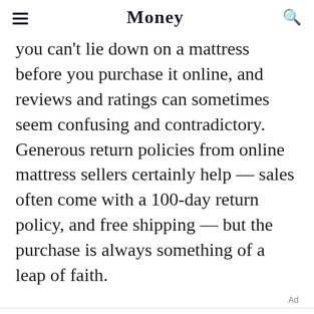Money
you can't lie down on a mattress before you purchase it online, and reviews and ratings can sometimes seem confusing and contradictory. Generous return policies from online mattress sellers certainly help — sales often come with a 100-day return policy, and free shipping — but the purchase is always something of a leap of faith.
Ad
Your sleep is only as good as your mattress. Find the